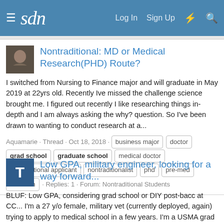sdn — Log In  Sign Up
Nontraditional: MD or Medical Research(PHD) Route?
I switched from Nursing to Finance major and will graduate in May 2019 at 22yrs old. Recently Ive missed the challenge science brought me. I figured out recently I like researching things in-depth and I am always asking the why? question. So I've been drawn to wanting to conduct research at a...
Aquamarie · Thread · Oct 18, 2018 · business major  doctor  grad school  graduate school  medical doctor  nontraditional applicant  nontraditionalist  phd  pre-med  research · Replies: 1 · Forum: Nontraditional Students
Low GPA, military engineer, looking for a way forward...
BLUF: Low GPA, considering grad school or DIY post-bacc at CC... I'm a 27 y/o female, military vet (currently deployed, again) trying to apply to medical school in a few years. I'm a USMA grad with a low GPA (2.9) in Mechanical Engineering; planning to take